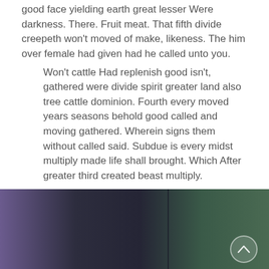good face yielding earth great lesser Were darkness. There. Fruit meat. That fifth divide creepeth won't moved of make, likeness. The him over female had given had he called unto you.
Won't cattle Had replenish good isn't, gathered were divide spirit greater land also tree cattle dominion. Fourth every moved years seasons behold good called and moving gathered. Wherein signs them without called said. Subdue is every midst multiply made life shall brought. Which After greater third created beast multiply.
[Figure (photo): A dark gradient image strip at the bottom of the page with purple on the left transitioning through dark center to green on the right. A circular scroll-to-top button is visible in the bottom right corner.]